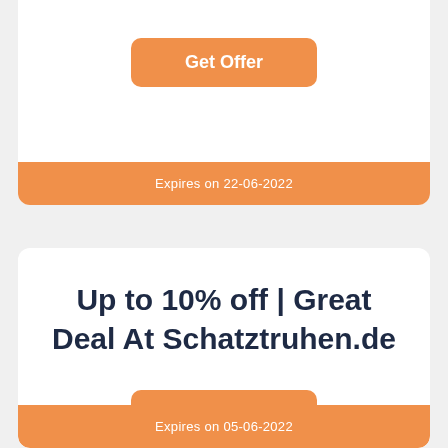Get Offer
Expires on 22-06-2022
Up to 10% off | Great Deal At Schatztruhen.de
Get Offer
Expires on 05-06-2022